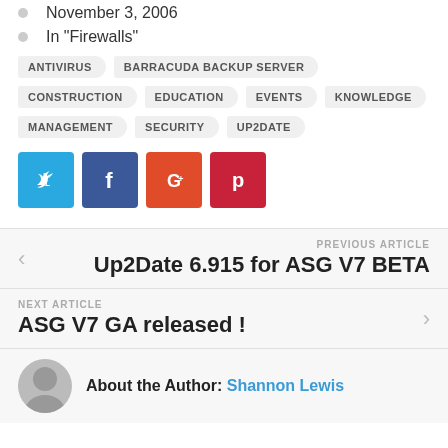November 3, 2006
In "Firewalls"
ANTIVIRUS  BARRACUDA BACKUP SERVER  CONSTRUCTION  EDUCATION  EVENTS  KNOWLEDGE  MANAGEMENT  SECURITY  UP2DATE
[Figure (infographic): Social share buttons: Twitter (blue), Facebook (dark blue), Google+ (orange-red), Pinterest (red)]
PREVIOUS ARTICLE
Up2Date 6.915 for ASG V7 BETA
NEXT ARTICLE
ASG V7 GA released !
About the Author: Shannon Lewis